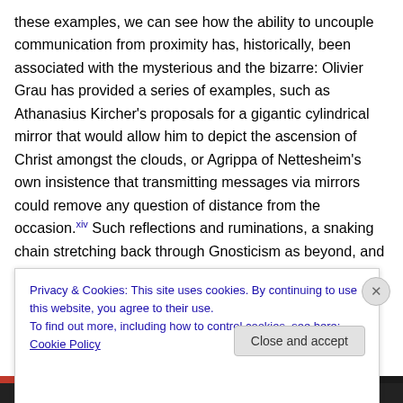these examples, we can see how the ability to uncouple communication from proximity has, historically, been associated with the mysterious and the bizarre: Olivier Grau has provided a series of examples, such as Athanasius Kircher's proposals for a gigantic cylindrical mirror that would allow him to depict the ascension of Christ amongst the clouds, or Agrippa of Nettesheim's own insistence that transmitting messages via mirrors could remove any question of distance from the occasion.[xiv] Such reflections and ruminations, a snaking chain stretching back through Gnosticism as beyond, and
Privacy & Cookies: This site uses cookies. By continuing to use this website, you agree to their use.
To find out more, including how to control cookies, see here: Cookie Policy
Close and accept